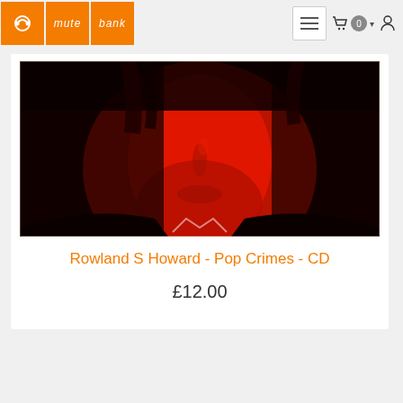[Figure (logo): Mute Records header with orange logo boxes (Mute icon, 'mute' text, 'bank' text) and navigation icons (hamburger menu, cart with 0 badge, dropdown arrow, user icon)]
[Figure (photo): Close-up album cover photo of Rowland S Howard's face dramatically lit in red and black shadows, from the album Pop Crimes]
Rowland S Howard - Pop Crimes - CD
£12.00